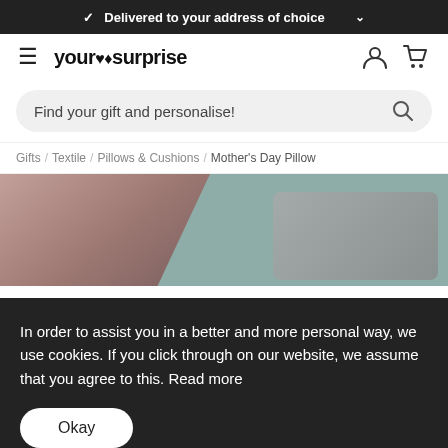✓ Delivered to your address of choice
[Figure (logo): YourSurprise logo with hamburger menu, user icon, and cart icon in navigation bar]
Find your gift and personalise!
Gifts / Textile / Pillows & Cushions / Mother's Day Pillow
[Figure (photo): Partial view of decorative pillows on a sofa with teal/sage green background]
In order to assist you in a better and more personal way, we use cookies. If you click through on our website, we assume that you agree to this. Read more
Okay